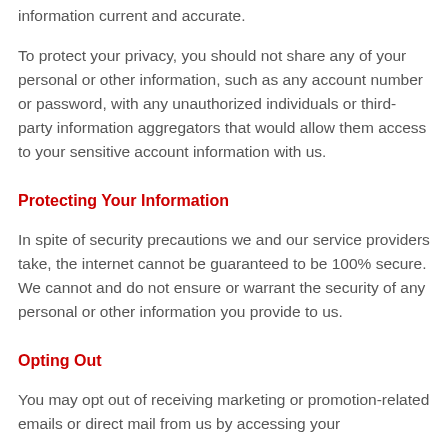information current and accurate.
To protect your privacy, you should not share any of your personal or other information, such as any account number or password, with any unauthorized individuals or third-party information aggregators that would allow them access to your sensitive account information with us.
Protecting Your Information
In spite of security precautions we and our service providers take, the internet cannot be guaranteed to be 100% secure. We cannot and do not ensure or warrant the security of any personal or other information you provide to us.
Opting Out
You may opt out of receiving marketing or promotion-related emails or direct mail from us by accessing your